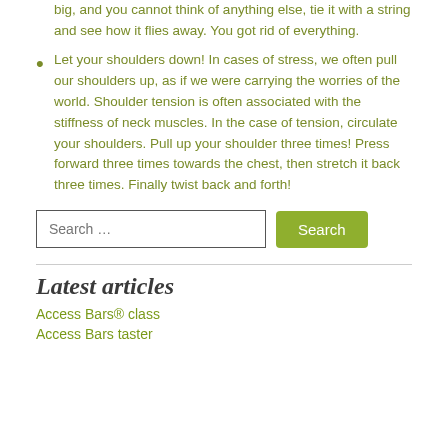big, and you cannot think of anything else, tie it with a string and see how it flies away. You got rid of everything.
Let your shoulders down! In cases of stress, we often pull our shoulders up, as if we were carrying the worries of the world. Shoulder tension is often associated with the stiffness of neck muscles. In the case of tension, circulate your shoulders. Pull up your shoulder three times! Press forward three times towards the chest, then stretch it back three times. Finally twist back and forth!
Search …
Latest articles
Access Bars® class
Access Bars taster